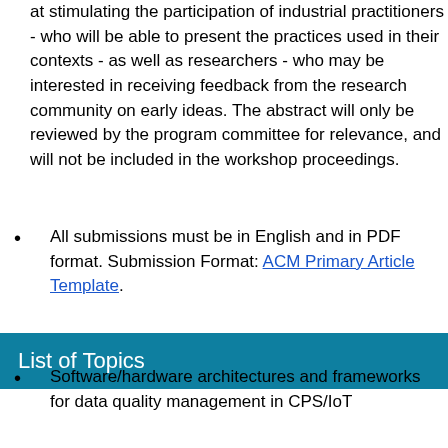at stimulating the participation of industrial practitioners - who will be able to present the practices used in their contexts - as well as researchers - who may be interested in receiving feedback from the research community on early ideas. The abstract will only be reviewed by the program committee for relevance, and will not be included in the workshop proceedings.
All submissions must be in English and in PDF format. Submission Format: ACM Primary Article Template.
List of Topics
Software/hardware architectures and frameworks for data quality management in CPS/IoT
Software engineering and AI to pre-process and clean data
Software engineering and AI to detect and repair anomalies in CPS/IoT data